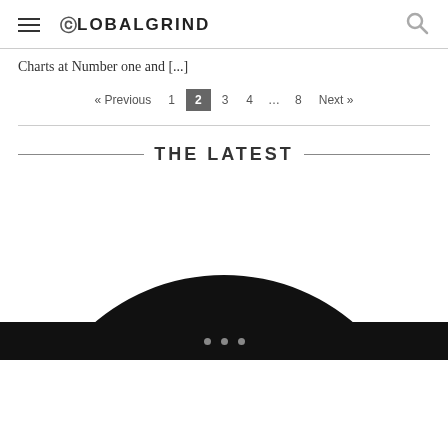GLOBALGRIND
Charts at Number one and [...]
« Previous  1  2  3  4  ...  8  Next »
THE LATEST
[Figure (photo): Close-up of a black circular steering wheel shape, cropped, mostly dark with white background visible through the center opening.]